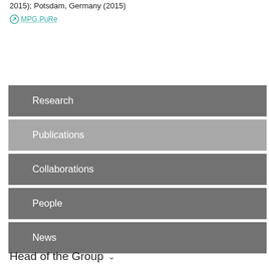2015); Potsdam, Germany (2015)
MPG.PuRe
Research
Publications
Collaborations
People
News
Head of the Group